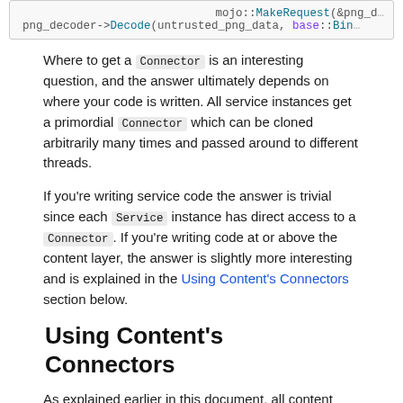[Figure (screenshot): Code block showing mojo::MakeRequest(&png_d... and png_decoder->Decode(untrusted_png_data, base::Bin...]
Where to get a Connector is an interesting question, and the answer ultimately depends on where your code is written. All service instances get a primordial Connector which can be cloned arbitrarily many times and passed around to different threads.
If you're writing service code the answer is trivial since each Service instance has direct access to a Connector. If you're writing code at or above the content layer, the answer is slightly more interesting and is explained in the Using Content's Connectors section below.
Using Content's Connectors
As explained earlier in this document, all content processes are modeled as service instances today. This means that all content processes have at least one Connector instance which can be used to bind interfaces exposed by other